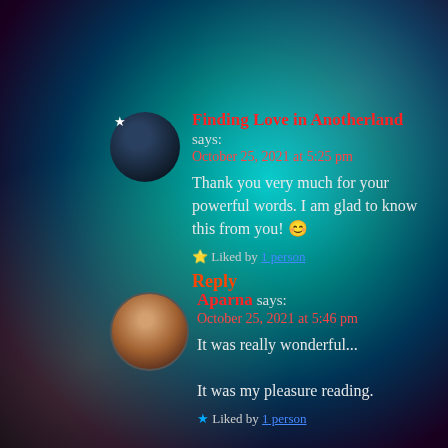Finding Love in Anotherland says: October 25, 2021 at 5:25 pm
Thank you very much for your powerful words. I am glad to know this from you! 😊
Liked by 1 person
Reply
Aparna says: October 25, 2021 at 5:46 pm
It was really wonderful...
It was my pleasure reading.
Liked by 1 person